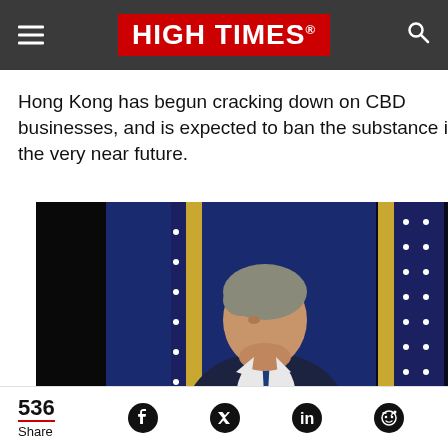HIGH TIMES
Hong Kong has begun cracking down on CBD businesses, and is expected to ban the substance in the very near future.
[Figure (photo): A man in a dark suit with a tie speaking at a podium, with American flags in the background against a blue curtain.]
536 Share